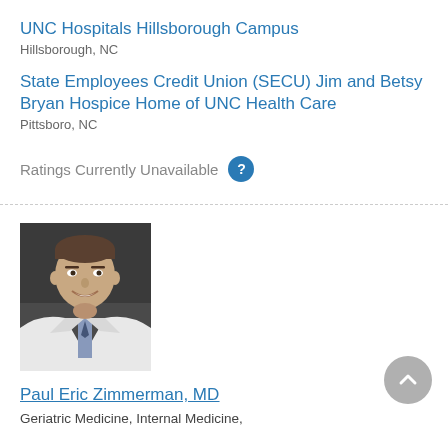UNC Hospitals Hillsborough Campus
Hillsborough, NC
State Employees Credit Union (SECU) Jim and Betsy Bryan Hospice Home of UNC Health Care
Pittsboro, NC
Ratings Currently Unavailable
[Figure (photo): Professional headshot of Paul Eric Zimmerman, MD, a man in a white coat and tie, smiling, against a dark background]
Paul Eric Zimmerman, MD
Geriatric Medicine, Internal Medicine,